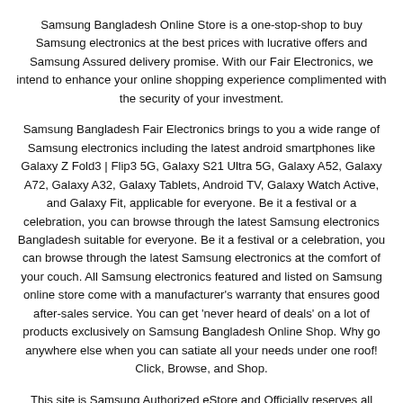Samsung Bangladesh Online Store is a one-stop-shop to buy Samsung electronics at the best prices with lucrative offers and Samsung Assured delivery promise. With our Fair Electronics, we intend to enhance your online shopping experience complimented with the security of your investment.
Samsung Bangladesh Fair Electronics brings to you a wide range of Samsung electronics including the latest android smartphones like Galaxy Z Fold3 | Flip3 5G, Galaxy S21 Ultra 5G, Galaxy A52, Galaxy A72, Galaxy A32, Galaxy Tablets, Android TV, Galaxy Watch Active, and Galaxy Fit, applicable for everyone. Be it a festival or a celebration, you can browse through the latest Samsung electronics Bangladesh suitable for everyone. Be it a festival or a celebration, you can browse through the latest Samsung electronics at the comfort of your couch. All Samsung electronics featured and listed on Samsung online store come with a manufacturer's warranty that ensures good after-sales service. You can get 'never heard of deals' on a lot of products exclusively on Samsung Bangladesh Online Shop. Why go anywhere else when you can satiate all your needs under one roof! Click, Browse, and Shop.
This site is Samsung Authorized eStore and Officially reserves all rights by Samsung Bangladesh. Copyright © 2022 Samsung eStore Bangladesh All right reserved. Powered by Fair Electronics Limited. This website is best